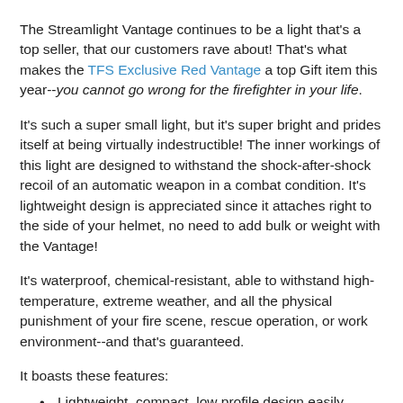The Streamlight Vantage continues to be a light that's a top seller, that our customers rave about! That's what makes the TFS Exclusive Red Vantage a top Gift item this year--you cannot go wrong for the firefighter in your life.
It's such a super small light, but it's super bright and prides itself at being virtually indestructible! The inner workings of this light are designed to withstand the shock-after-shock recoil of an automatic weapon in a combat condition. It's lightweight design is appreciated since it attaches right to the side of your helmet, no need to add bulk or weight with the Vantage!
It's waterproof, chemical-resistant, able to withstand high-temperature, extreme weather, and all the physical punishment of your fire scene, rescue operation, or work environment--and that's guaranteed.
It boasts these features:
Lightweight, compact, low profile design easily attaches/detaches above or below brim on traditional and modern